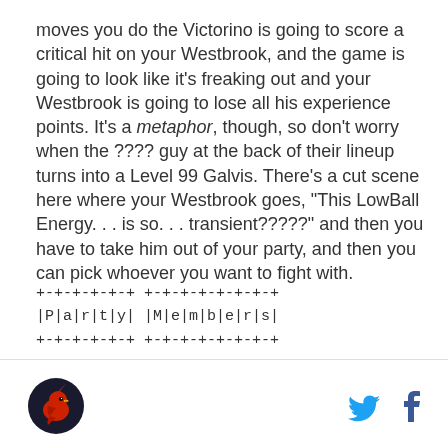moves you do the Victorino is going to score a critical hit on your Westbrook, and the game is going to look like it's freaking out and your Westbrook is going to lose all his experience points. It's a metaphor, though, so don't worry when the ???? guy at the back of their lineup turns into a Level 99 Galvis. There's a cut scene here where your Westbrook goes, "This LowBall Energy. . . is so. . . transient?????" and then you have to take him out of your party, and then you can pick whoever you want to fight with.
+-+-+-+-+-+ +-+-+-+-+-+-+-+
|P|a|r|t|y| |M|e|m|b|e|r|s|
+-+-+-+-+-+ +-+-+-+-+-+-+-+
[Figure (logo): Sports team logo - red cardinal bird on dark circular background]
[Figure (logo): Twitter bird icon in blue]
[Figure (logo): Facebook f icon in blue]